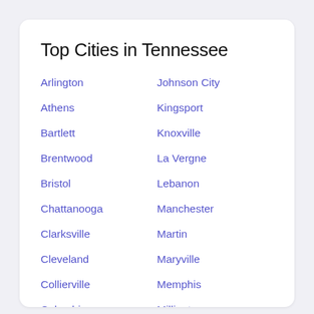Top Cities in Tennessee
Arlington
Athens
Bartlett
Brentwood
Bristol
Chattanooga
Clarksville
Cleveland
Collierville
Columbia
Cookeville
Johnson City
Kingsport
Knoxville
La Vergne
Lebanon
Manchester
Martin
Maryville
Memphis
Millington
Morristown